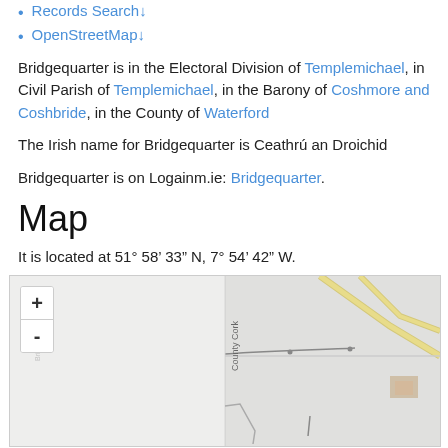Records Search↓
OpenStreetMap↓
Bridgequarter is in the Electoral Division of Templemichael, in Civil Parish of Templemichael, in the Barony of Coshmore and Coshbride, in the County of Waterford
The Irish name for Bridgequarter is Ceathrú an Droichid
Bridgequarter is on Logainm.ie: Bridgequarter.
Map
It is located at 51° 58' 33" N, 7° 54' 42" W.
[Figure (map): OpenStreetMap showing Bridgequarter area with County Cork label and roads/paths visible, zoom +/- controls in top-left corner]